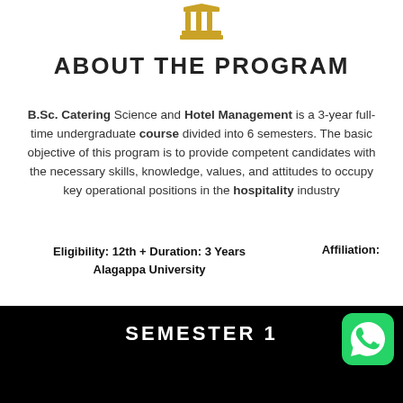[Figure (logo): Gold/yellow university building pillar icon at top center]
ABOUT THE PROGRAM
B.Sc. Catering Science and Hotel Management is a 3-year full-time undergraduate course divided into 6 semesters. The basic objective of this program is to provide competent candidates with the necessary skills, knowledge, values, and attitudes to occupy key operational positions in the hospitality industry
Eligibility: 12th + Duration: 3 Years   Affiliation:
Alagappa University
SEMESTER 1
[Figure (logo): WhatsApp green rounded square logo icon at bottom right]